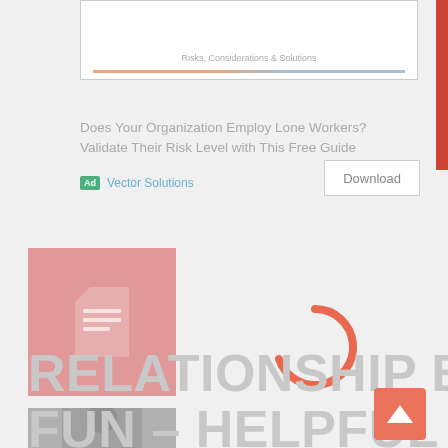[Figure (screenshot): Partially visible document cover image with text 'Risks, Considerations & Solutions' and a thin colored bar at the bottom, cropped at top of page]
Does Your Organization Employ Lone Workers? Validate Their Risk Level with This Free Guide
Ad Vector Solutions
[Figure (screenshot): Download button with border on the right side of the ad]
[Figure (illustration): Pink/salmon colored document icon thumbnail with white document lines]
[Figure (photo): Grayscale photo of a man in a suit, partially visible]
[Figure (other): Salmon/coral colored loading spinner (partial circle) indicating page content is loading]
RELATIONSHIP BLOG – FUN – HELPFUL – BUT POSSIBLY DANGEROUS